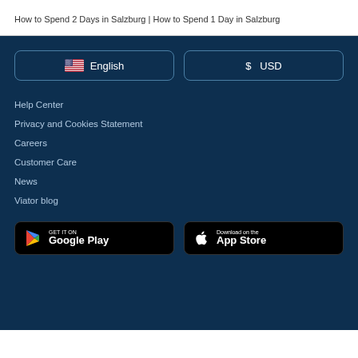How to Spend 2 Days in Salzburg | How to Spend 1 Day in Salzburg
English
$ USD
Help Center
Privacy and Cookies Statement
Careers
Customer Care
News
Viator blog
[Figure (other): Get it on Google Play button]
[Figure (other): Download on the App Store button]